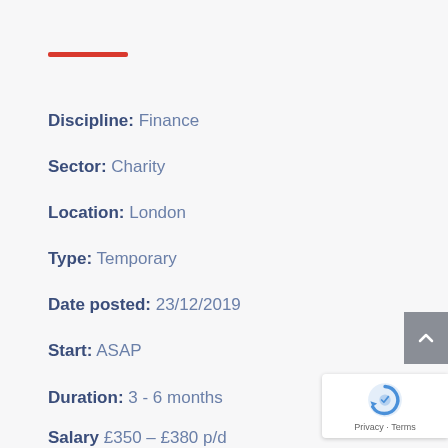Discipline: Finance
Sector: Charity
Location: London
Type: Temporary
Date posted: 23/12/2019
Start: ASAP
Duration: 3 - 6 months